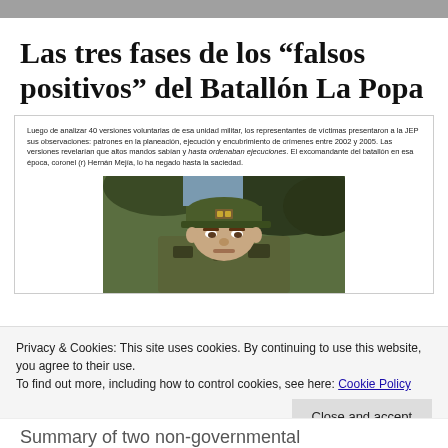Las tres fases de los “falsos positivos” del Batallón La Popa
[Figure (photo): Article block containing caption text and a photo of a military officer wearing camouflage uniform and cap. Caption reads: Luego de analizar 40 versiones voluntarias de esa unidad militar, los representantes de víctimas presentaron a la JEP sus observaciones: patrones en la planeación, ejecución y encubrimiento de crímenes entre 2002 y 2005. Las versiones revelarían que altos mandos sabían y hasta ordenaban ejecuciones. El excomandante del batallón en esa época, coronel (r) Hernán Mejía, lo ha negado hasta la saciedad.]
Privacy & Cookies: This site uses cookies. By continuing to use this website, you agree to their use. To find out more, including how to control cookies, see here: Cookie Policy
Summary of two non-governmental